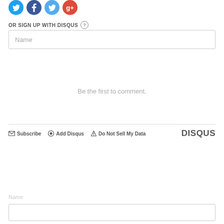[Figure (other): Social media login icons: Twitter (blue), Facebook (dark blue), Twitter variant (light blue), Google+ (red) as circles]
OR SIGN UP WITH DISQUS ?
Name
Be the first to comment.
Subscribe  Add Disqus  Do Not Sell My Data   DISQUS
Name